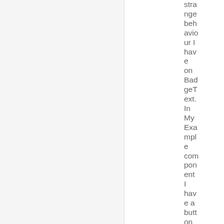strange behaviour I have on BadgeText. In MyExample component I have a button with an handler on clic